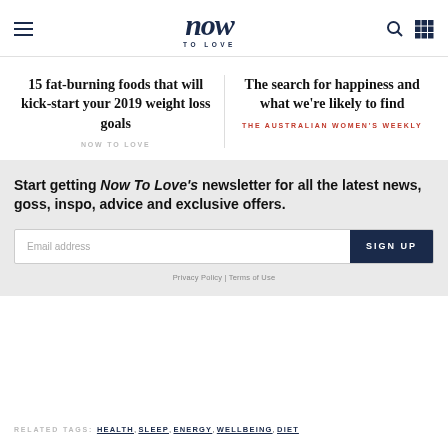now TO LOVE
15 fat-burning foods that will kick-start your 2019 weight loss goals
NOW TO LOVE
The search for happiness and what we're likely to find
THE AUSTRALIAN WOMEN'S WEEKLY
Start getting Now To Love's newsletter for all the latest news, goss, inspo, advice and exclusive offers.
Email address
SIGN UP
Privacy Policy | Terms of Use
RELATED TAGS: HEALTH, SLEEP, ENERGY, WELLBEING, DIET